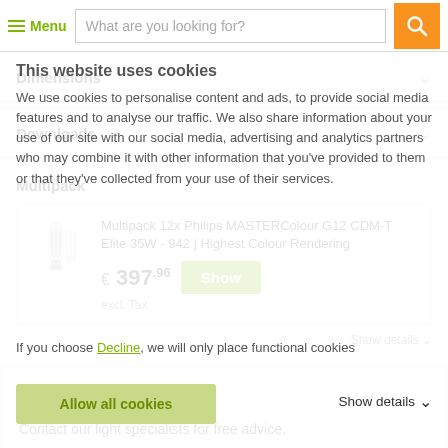Menu | What are you looking for?
Dimensions
Downloads
Multipack
Multipack 12x Philips MASTERColour G12 CDM-T Elite 35W - 942 | Highest Colour Rendering
€ 397.96 excl. Tax
This website uses cookies
We use cookies to personalise content and ads, to provide social media features and to analyse our traffic. We also share information about your use of our site with our social media, advertising and analytics partners who may combine it with other information that you've provided to them or that they've collected from your use of their services.
If you choose Decline, we will only place functional cookies
Allow all cookies
Show details
Need help?
Contact our light specialists for free advice.